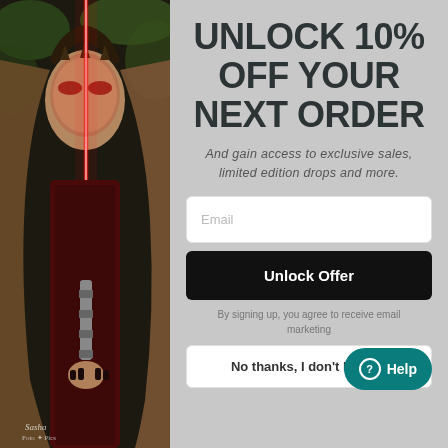[Figure (photo): Woman in fantasy/cosplay costume holding a red lightsaber, wearing a dark crown/headpiece, with the blade of the lightsaber splitting her face. Photo credit: Sasha Foto Pics]
UNLOCK 10% OFF YOUR NEXT ORDER
And gain access to exclusive sales, limited edition drops and more.
Email
Unlock Offer
By signing up, you agree to receive email marketing
No thanks, I don't like dis
Help